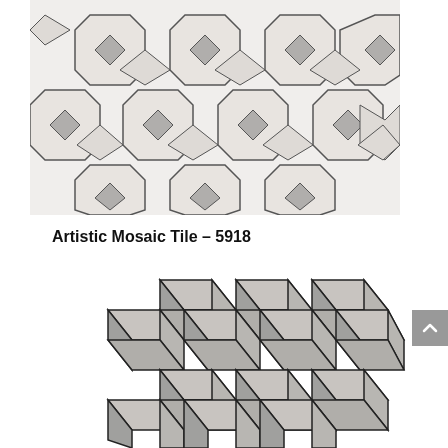[Figure (photo): White and gray marble mosaic tile with octagon and diamond pattern, shot from above on white background.]
Artistic Mosaic Tile – 5918
[Figure (photo): Gray marble mosaic tile with 3D cube/rhombus geometric pattern, shot from above on white background.]